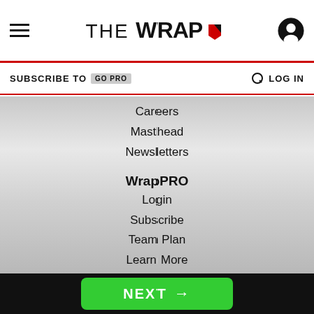THE WRAP
SUBSCRIBE TO GO PRO   LOG IN
Careers
Masthead
Newsletters
WrapPRO
Login
Subscribe
Team Plan
Learn More
Legal
Terms of Service
Privacy Policy
AdChoices
Wrap Magazine
NEXT →